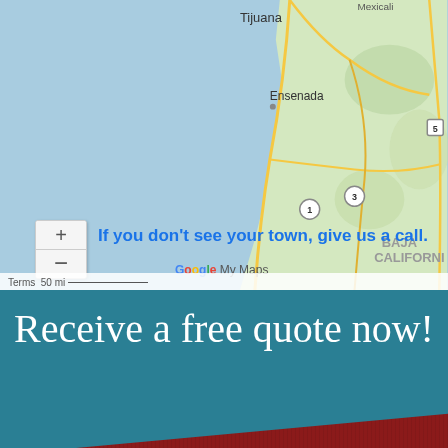[Figure (map): Google My Maps screenshot showing Baja California coast including Tijuana and Ensenada, with blue ocean on the left and land on the right. Zoom controls visible on lower left. Overlay text reads 'If you don't see your town, give us a call.' with Google My Maps branding. Scale bar shows 50 mi.]
If you don't see your town, give us a call.
Receive a free quote now!